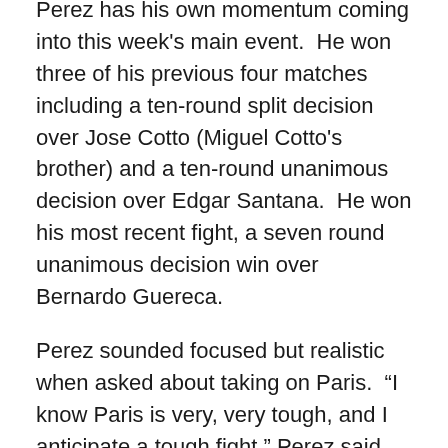Perez has his own momentum coming into this week's main event.  He won three of his previous four matches including a ten-round split decision over Jose Cotto (Miguel Cotto's brother) and a ten-round unanimous decision over Edgar Santana.  He won his most recent fight, a seven round unanimous decision win over Bernardo Guereca.
Perez sounded focused but realistic when asked about taking on Paris.  “I know Paris is very, very tough, and I anticipate a tough fight,” Perez said.  “Those are the fights I like. I’ve said it before – you don’t become the best without fighting the best. You have to fight and beat the best. I’m working on my jab a lot now, and just want to show more variety in my shots this fight. I want to show better angles, and a better variety of right hands. I want to apply the right kind of pressure and just break him down.